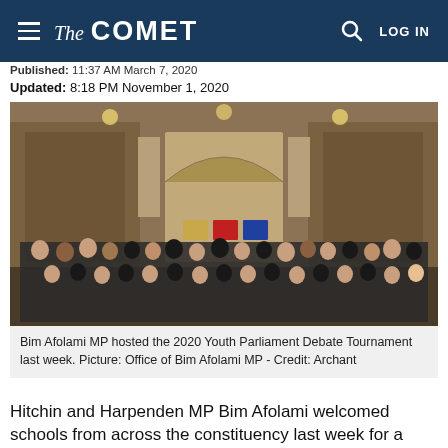The COMET | LOG IN
Published: 11:37 AM March 7, 2020
Updated: 8:18 PM November 1, 2020
[Figure (photo): Group photo of students and adults inside an ornate parliamentary building with murals and statues. They are posing in a large hall with golden stone architecture.]
Bim Afolami MP hosted the 2020 Youth Parliament Debate Tournament last week. Picture: Office of Bim Afolami MP - Credit: Archant
Hitchin and Harpenden MP Bim Afolami welcomed schools from across the constituency last week for a